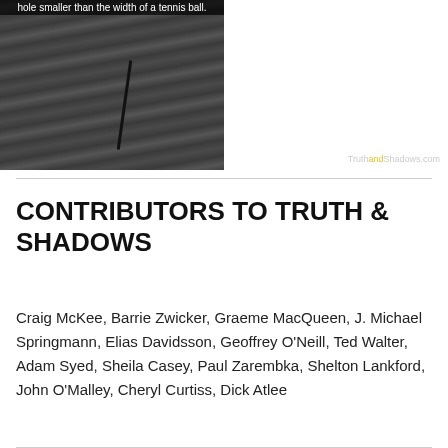[Figure (photo): A composite image showing a dark cracked rubber/plastic surface on the left half and a dark navy blue background on the right with yellow bold text reading 'The question is why anyone still thinks they are credible.' and website URL TruthandShadows.com at bottom right. A caption strip at top reads 'hole smaller than the width of a tennis ball.']
CONTRIBUTORS TO TRUTH & SHADOWS
Craig McKee, Barrie Zwicker, Graeme MacQueen, J. Michael Springmann, Elias Davidsson, Geoffrey O'Neill, Ted Walter, Adam Syed, Sheila Casey, Paul Zarembka, Shelton Lankford, John O'Malley, Cheryl Curtiss, Dick Atlee